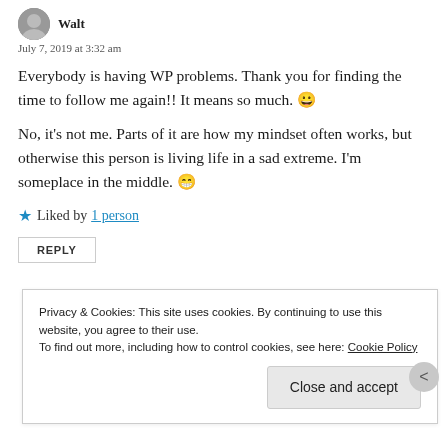July 7, 2019 at 3:32 am
Everybody is having WP problems. Thank you for finding the time to follow me again!! It means so much. 😀
No, it's not me. Parts of it are how my mindset often works, but otherwise this person is living life in a sad extreme. I'm someplace in the middle. 😁
★ Liked by 1 person
REPLY
Privacy & Cookies: This site uses cookies. By continuing to use this website, you agree to their use.
To find out more, including how to control cookies, see here: Cookie Policy
Close and accept